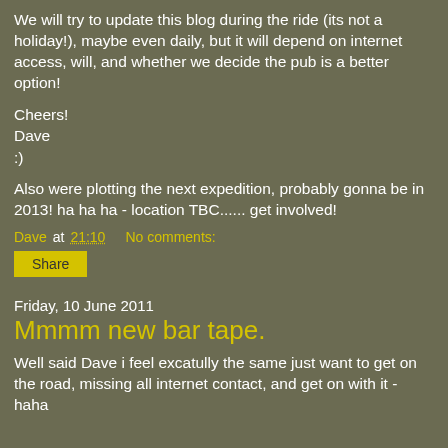We will try to update this blog during the ride (its not a holiday!), maybe even daily, but it will depend on internet access, will, and whether we decide the pub is a better option!
Cheers!
Dave
:)
Also were plotting the next expedition, probably gonna be in 2013! ha ha ha - location TBC...... get involved!
Dave at 21:10    No comments:
Share
Friday, 10 June 2011
Mmmm new bar tape.
Well said Dave i feel excatully the same just want to get on the road, missing all internet contact, and get on with it - haha